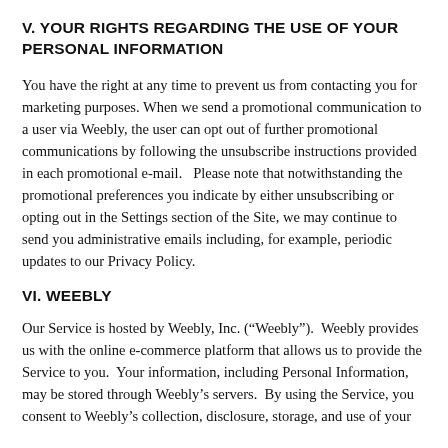V. YOUR RIGHTS REGARDING THE USE OF YOUR PERSONAL INFORMATION
You have the right at any time to prevent us from contacting you for marketing purposes. When we send a promotional communication to a user via Weebly, the user can opt out of further promotional communications by following the unsubscribe instructions provided in each promotional e-mail.   Please note that notwithstanding the promotional preferences you indicate by either unsubscribing or opting out in the Settings section of the Site, we may continue to send you administrative emails including, for example, periodic updates to our Privacy Policy.
VI. WEEBLY
Our Service is hosted by Weebly, Inc. (“Weebly”).  Weebly provides us with the online e-commerce platform that allows us to provide the Service to you.  Your information, including Personal Information, may be stored through Weebly’s servers.  By using the Service, you consent to Weebly’s collection, disclosure, storage, and use of your